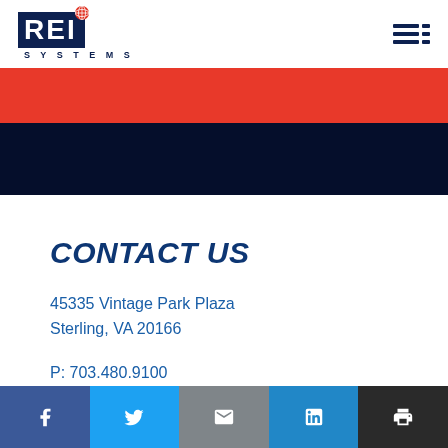REI SYSTEMS
[Figure (logo): REI Systems logo with globe icon, red globe in upper right of box, dark navy background for REI text, SYSTEMS lettered below]
CONTACT US
45335 Vintage Park Plaza
Sterling, VA 20166
P: 703.480.9100
F: 703.689.4680
Social share bar: Facebook, Twitter, Email, LinkedIn, Print